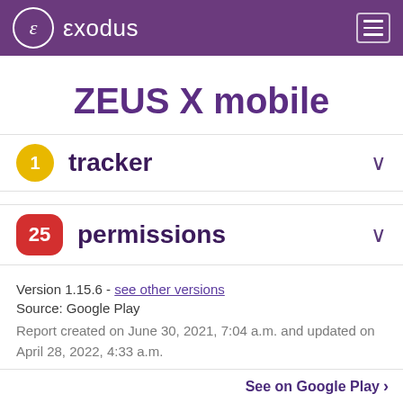exodus
ZEUS X mobile
1 tracker
25 permissions
Version 1.15.6 - see other versions
Source: Google Play
Report created on June 30, 2021, 7:04 a.m. and updated on April 28, 2022, 4:33 a.m.
See on Google Play